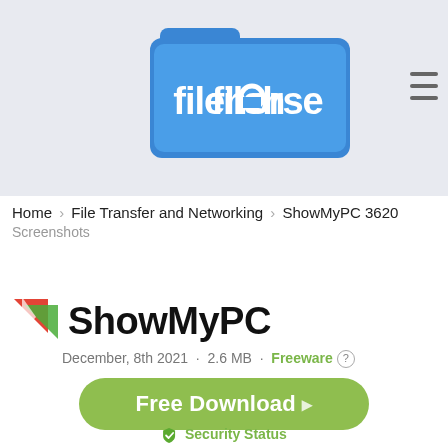[Figure (logo): Filehorse logo — blue folder icon with white 'filehorse' text inside, on a light gray background header]
Home › File Transfer and Networking › ShowMyPC 3620
Screenshots
[Figure (logo): ShowMyPC app icon — red and green overlapping triangles/arrows]
ShowMyPC
December, 8th 2021  ·  2.6 MB  ·  Freeware ⓘ
Free Download
Security Status